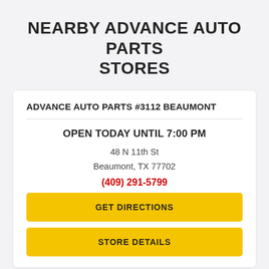NEARBY ADVANCE AUTO PARTS STORES
ADVANCE AUTO PARTS #3112 BEAUMONT
OPEN TODAY UNTIL 7:00 PM
48 N 11th St
Beaumont, TX 77702
(409) 291-5799
GET DIRECTIONS
STORE DETAILS